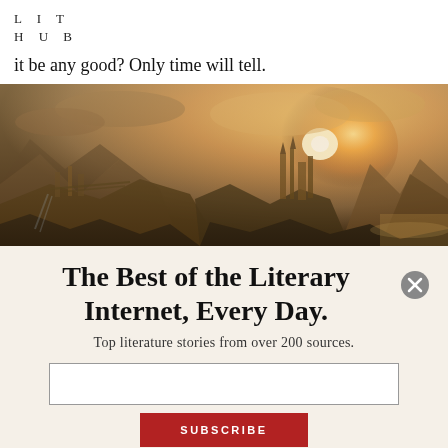LIT HUB
it be any good? Only time will tell.
[Figure (photo): Fantasy landscape with a glowing golden sunrise over a vast ancient city built into rocky cliffs and mountains, with towers and bridges visible in the warm light.]
The Best of the Literary Internet, Every Day.
Top literature stories from over 200 sources.